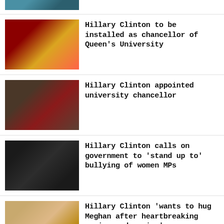[Figure (photo): Partial news thumbnail at top of page]
Hillary Clinton to be installed as chancellor of Queen's University
[Figure (photo): Hillary Clinton in red academic robes at a podium]
Hillary Clinton appointed university chancellor
[Figure (photo): Hillary Clinton in academic robes outdoors]
Hillary Clinton calls on government to 'stand up to' bullying of women MPs
[Figure (photo): Hillary Clinton and Chelsea Clinton on a TV set]
Hillary Clinton 'wants to hug Meghan after heartbreaking sexism and racism'
[Figure (photo): Meghan Markle and Hillary Clinton side by side]
What we know about the bombs targeting Democrats
[Figure (photo): Partial photo of Obama at bottom of page]